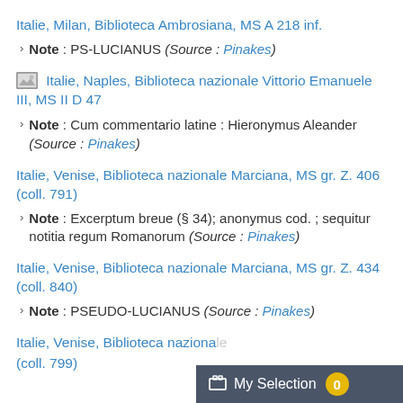Italie, Milan, Biblioteca Ambrosiana, MS A 218 inf.
Note : PS-LUCIANUS (Source : Pinakes)
Italie, Naples, Biblioteca nazionale Vittorio Emanuele III, MS II D 47
Note : Cum commentario latine : Hieronymus Aleander (Source : Pinakes)
Italie, Venise, Biblioteca nazionale Marciana, MS gr. Z. 406 (coll. 791)
Note : Excerptum breue (§ 34); anonymus cod. ; sequitur notitia regum Romanorum (Source : Pinakes)
Italie, Venise, Biblioteca nazionale Marciana, MS gr. Z. 434 (coll. 840)
Note : PSEUDO-LUCIANUS (Source : Pinakes)
Italie, Venise, Biblioteca nazionale ... (coll. 799)